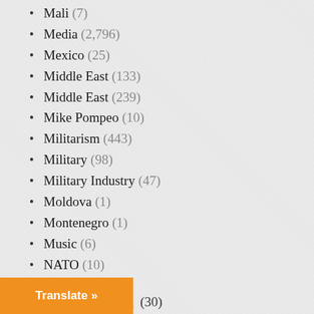Mali (7)
Media (2,796)
Mexico (25)
Middle East (133)
Middle East (239)
Mike Pompeo (10)
Militarism (443)
Military (98)
Military Industry (47)
Moldova (1)
Montenegro (1)
Music (6)
NATO (10)
Nazism (4)
New Zealand (3)
New Zealand (3)
News Analysis (41)
Nigeria (7)
Translate »
(30)